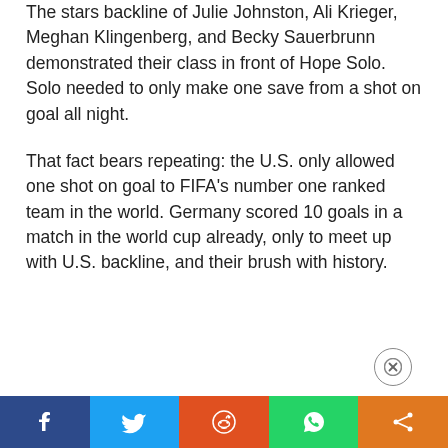The stars backline of Julie Johnston, Ali Krieger, Meghan Klingenberg, and Becky Sauerbrunn demonstrated their class in front of Hope Solo. Solo needed to only make one save from a shot on goal all night.
That fact bears repeating: the U.S. only allowed one shot on goal to FIFA's number one ranked team in the world. Germany scored 10 goals in a match in the world cup already, only to meet up with U.S. backline, and their brush with history.
[Figure (other): Close (X) button circle in lower right area of page]
[Figure (other): Social sharing bar at bottom: Facebook (dark blue), Twitter (light blue), Reddit (orange-red), WhatsApp (green), Share (orange)]